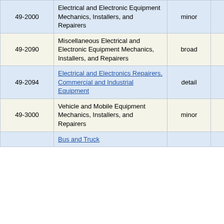| Code | Name | Type | Value1 | Value2 |
| --- | --- | --- | --- | --- |
| 49-2000 | Electrical and Electronic Equipment Mechanics, Installers, and Repairers | minor | 1,640 | 4.6 |
| 49-2090 | Miscellaneous Electrical and Electronic Equipment Mechanics, Installers, and Repairers | broad | 1,640 | 4.6 |
| 49-2094 | Electrical and Electronics Repairers, Commercial and Industrial Equipment | detail | 1,640 | 4.6 |
| 49-3000 | Vehicle and Mobile Equipment Mechanics, Installers, and Repairers | minor | 150 | 14.0 |
|  | Bus and Truck ... |  |  |  |